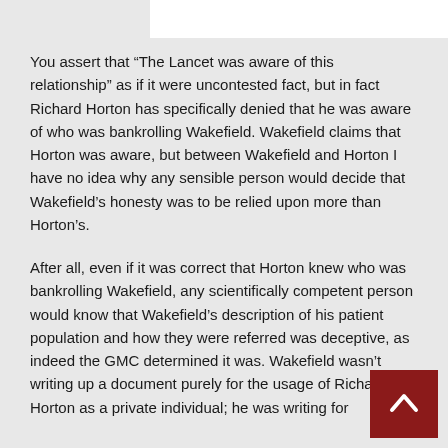You assert that “The Lancet was aware of this relationship” as if it were uncontested fact, but in fact Richard Horton has specifically denied that he was aware of who was bankrolling Wakefield. Wakefield claims that Horton was aware, but between Wakefield and Horton I have no idea why any sensible person would decide that Wakefield’s honesty was to be relied upon more than Horton’s.
After all, even if it was correct that Horton knew who was bankrolling Wakefield, any scientifically competent person would know that Wakefield’s description of his patient population and how they were referred was deceptive, as indeed the GMC determined it was. Wakefield wasn’t writing up a document purely for the usage of Richard Horton as a private individual; he was writing for